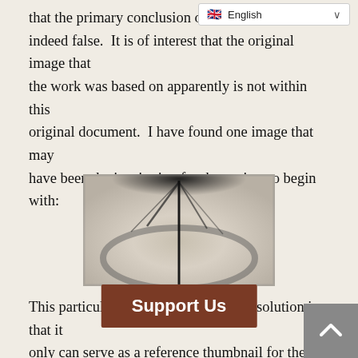that the primary conclusion of th[e paper] is indeed false.  It is of interest that the original image that the work was based on apparently is not within this original document.  I have found one image that may have been the inspiration for the project to begin with:
[Figure (photo): A low-resolution grayscale photograph showing a dark vertical line or needle against a light circular/ring-like background, with dark star-burst shadows at the top.]
This particular image is of such low resolution is that it only can serve as a reference thumbnail for the project design.  Looking back at this image, paper, and memories from more than a de[cade, it seems to re]me that the measurement was ta[ken of the inside o]f the ring since